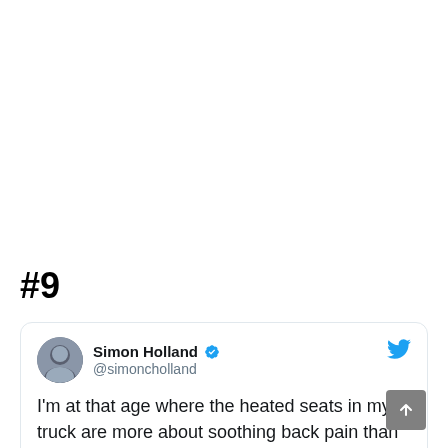#9
Simon Holland @simoncholland
I'm at that age where the heated seats in my truck are more about soothing back pain than warming me up.
12:45 PM · Jan 24, 2020